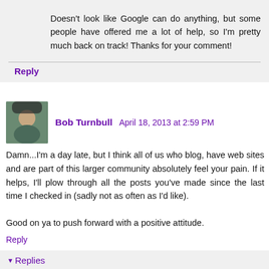Doesn't look like Google can do anything, but some people have offered me a lot of help, so I'm pretty much back on track! Thanks for your comment!
Reply
Bob Turnbull  April 18, 2013 at 2:59 PM
Damn...I'm a day late, but I think all of us who blog, have web sites and are part of this larger community absolutely feel your pain. If it helps, I'll plow through all the posts you've made since the last time I checked in (sadly not as often as I'd like).

Good on ya to push forward with a positive attitude.
Reply
Replies